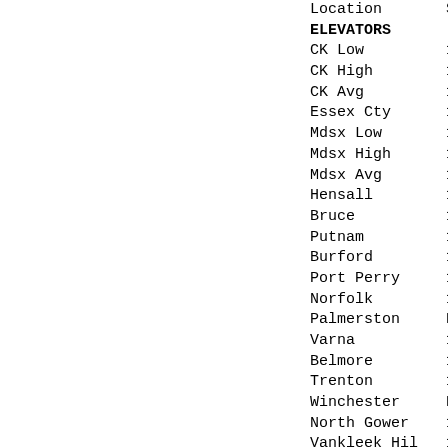| Location | Spot |
| --- | --- |
| ELEVATORS |  |
| CK Low | 1.5 |
| CK High | 1.9 |
| CK Avg | 1.7 |
| Essex Cty | 1.7 |
| Mdsx Low | 1.5 |
| Mdsx High | 1.7 |
| Mdsx Avg | 1.6 |
| Hensall | 1.7 |
| Bruce | 1.7 |
| Putnam | 1.7 |
| Burford | 1.5 |
| Port Perry | 1.4 |
| Norfolk | 1.7 |
| Palmerston | N/A |
| Varna | 1.7 |
| Belmore | 1.7 |
| Trenton | 1.5 |
| Winchester | N/A |
| North Gower | 1.6 |
| Vankleek Hil | 1.5 |
| Huron FOB | 1.7 |
| Kent FOB | 1.7 |
| Lamb FOB | 1.7 |
| Mdsx FOB | N/A |
| FOB SW Que | 1.8 |
| Track | 2.3 |
| PROCESSORS |  |